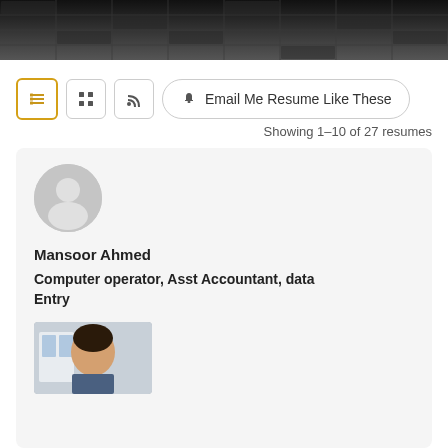[Figure (photo): Dark ceiling with grid tile pattern, top banner image]
[Figure (screenshot): Toolbar with list view button (active, gold border), grid view button, RSS button, and Email Me Resume Like These button]
Showing 1–10 of 27 resumes
[Figure (illustration): Gray avatar/profile placeholder circle icon]
Mansoor Ahmed
Computer operator, Asst Accountant, data Entry
[Figure (photo): Partial photo of a young man, bottom of the resume card]